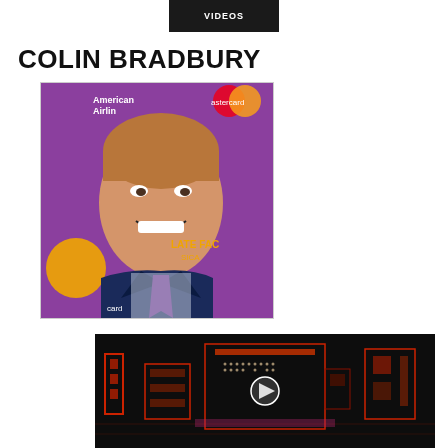VIDEOS
COLIN BRADBURY
[Figure (photo): Headshot of Colin Bradbury smiling, wearing a dark navy suit with black lapels, a purple tie, and a sparkly shirt. Background is purple/magenta with American Airlines and Mastercard logos, and a 'Chocolate Factory Musical' banner visible.]
[Figure (photo): Dark stage photo with red neon-lit set pieces, geometric shapes and lights forming a theatrical stage design on a dark background. A play button icon is visible in the center.]